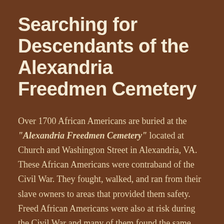Searching for Descendants of the Alexandria Freedmen Cemetery
Over 1700 African Americans are buried at the “Alexandria Freedmen Cemetery” located at Church and Washington Street in Alexandria, VA. These African Americans were contraband of the Civil War. They fought, walked, and ran from their slave owners to areas that provided them safety. Freed African Americans were also at risk during the Civil War and many of them found the same safety net as the slaves. For more information on the Alexandria Freedmen